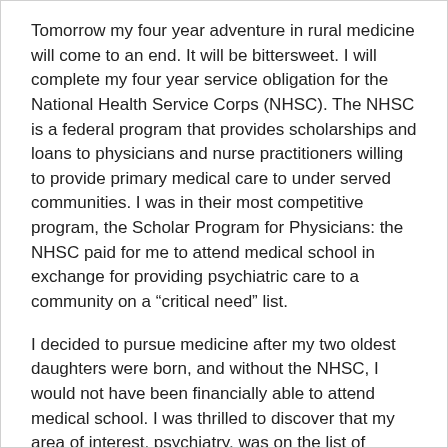Tomorrow my four year adventure in rural medicine will come to an end. It will be bittersweet. I will complete my four year service obligation for the National Health Service Corps (NHSC). The NHSC is a federal program that provides scholarships and loans to physicians and nurse practitioners willing to provide primary medical care to under served communities. I was in their most competitive program, the Scholar Program for Physicians: the NHSC paid for me to attend medical school in exchange for providing psychiatric care to a community on a "critical need" list.
I decided to pursue medicine after my two oldest daughters were born, and without the NHSC, I would not have been financially able to attend medical school. I was thrilled to discover that my area of interest, psychiatry, was on the list of required specialties. The financial support from the NHSC felt like a luxury: they paid my medical school tuition and fees up front along with a monthly stipend. This made medical school extremely enjoyable for me. I didn't have the shadow of mounting student loans looming over me, which made me almost giddy as I immersed myself in anatomy, pathophysiology and clinical rotations. It wasn't until I was in residency, exposed to critically underserved populations